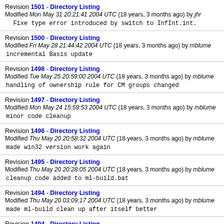Revision 1501 - Directory Listing
Modified Mon May 31 20:21:41 2004 UTC (18 years, 3 months ago) by jhr
Fixe type error introduced by switch to InfInt.int.
Revision 1500 - Directory Listing
Modified Fri May 28 21:44:42 2004 UTC (18 years, 3 months ago) by mblume
incremental Basis update
Revision 1498 - Directory Listing
Modified Tue May 25 20:59:00 2004 UTC (18 years, 3 months ago) by mblume
handling of ownership rule for CM groups changed
Revision 1497 - Directory Listing
Modified Mon May 24 15:59:53 2004 UTC (18 years, 3 months ago) by mblume
minor code cleanup
Revision 1496 - Directory Listing
Modified Thu May 20 20:58:32 2004 UTC (18 years, 3 months ago) by mblume
made win32 version work again
Revision 1495 - Directory Listing
Modified Thu May 20 20:28:05 2004 UTC (18 years, 3 months ago) by mblume
cleanup code added to ml-build.bat
Revision 1494 - Directory Listing
Modified Thu May 20 03:09:17 2004 UTC (18 years, 3 months ago) by mblume
made ml-build clean up after itself better
Revision 1494 - Directory Listing (partial, cut off)